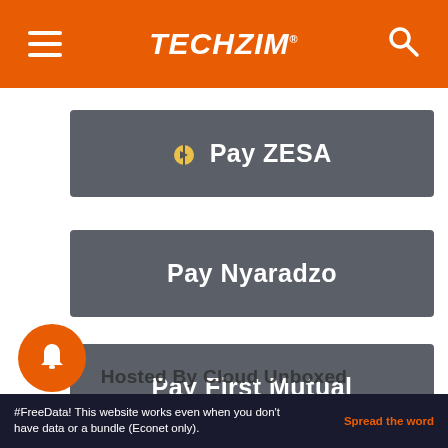TECHZiM
Pay ZESA
Pay Nyaradzo
Pay First Mutual
Pay Telone
Hosted By Cloud Unboxed
#FreeData! This website works even when you don't have data or a bundle (Econet only).    Spread the word